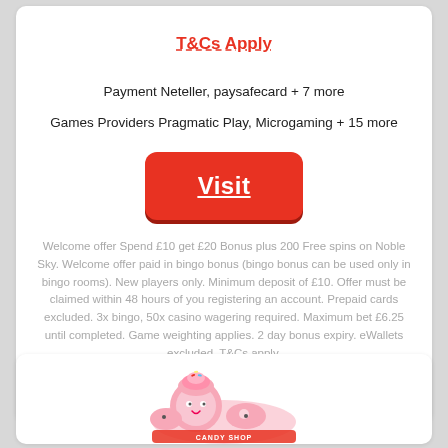T&Cs Apply
Payment Neteller, paysafecard + 7 more
Games Providers Pragmatic Play, Microgaming + 15 more
Visit
Welcome offer Spend £10 get £20 Bonus plus 200 Free spins on Noble Sky. Welcome offer paid in bingo bonus (bingo bonus can be used only in bingo rooms). New players only. Minimum deposit of £10. Offer must be claimed within 48 hours of you registering an account. Prepaid cards excluded. 3x bingo, 50x casino wagering required. Maximum bet £6.25 until completed. Game weighting applies. 2 day bonus expiry. eWallets excluded. T&Cs apply.
[Figure (logo): BeGambleAware.org logo with 18+ badge]
[Figure (logo): Candy Shop bingo brand logo with pink cartoon character]